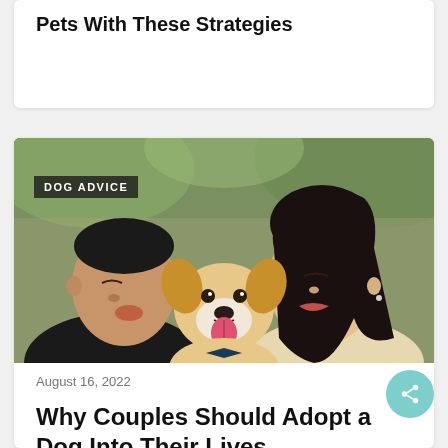Pets With These Strategies
[Figure (photo): A couple kissing a Corgi dog on both cheeks outdoors]
DOG ADVICE
August 16, 2022
Why Couples Should Adopt a Dog Into Their Lives